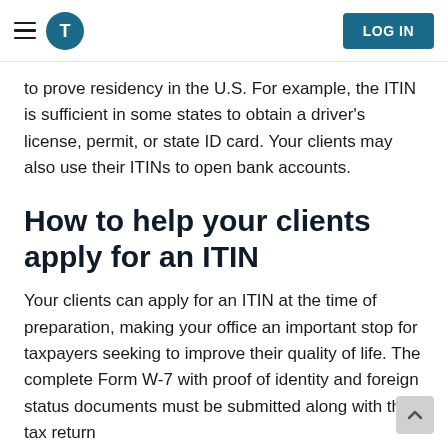LOG IN
to prove residency in the U.S. For example, the ITIN is sufficient in some states to obtain a driver's license, permit, or state ID card. Your clients may also use their ITINs to open bank accounts.
How to help your clients apply for an ITIN
Your clients can apply for an ITIN at the time of preparation, making your office an important stop for taxpayers seeking to improve their quality of life. The complete Form W-7 with proof of identity and foreign status documents must be submitted along with the tax return